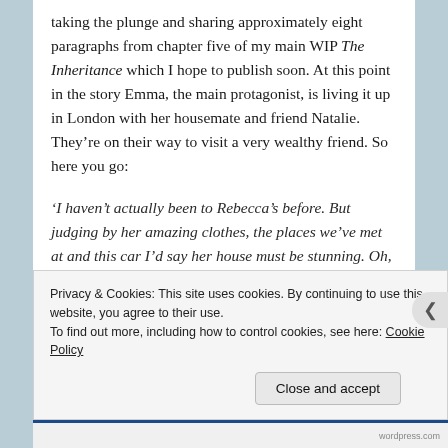taking the plunge and sharing approximately eight paragraphs from chapter five of my main WIP The Inheritance which I hope to publish soon. At this point in the story Emma, the main protagonist, is living it up in London with her housemate and friend Natalie. They're on their way to visit a very wealthy friend. So here you go:
'I haven't actually been to Rebecca's before. But judging by her amazing clothes, the places we've met at and this car I'd say her house must be stunning. Oh, and it's in
Privacy & Cookies: This site uses cookies. By continuing to use this website, you agree to their use.
To find out more, including how to control cookies, see here: Cookie Policy